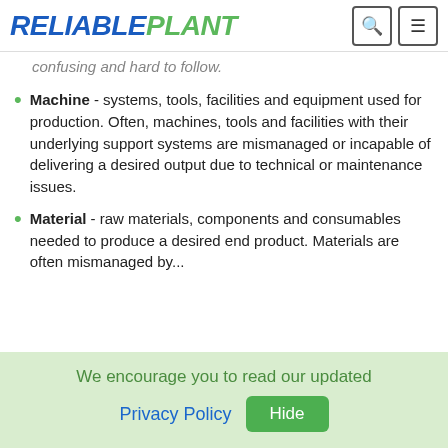RELIABLEPLANT
confusing and hard to follow.
Machine - systems, tools, facilities and equipment used for production. Often, machines, tools and facilities with their underlying support systems are mismanaged or incapable of delivering a desired output due to technical or maintenance issues.
Material - raw materials, components and consumables needed to produce a desired end product. Materials are often mismanaged by...
We encourage you to read our updated Privacy Policy  Hide